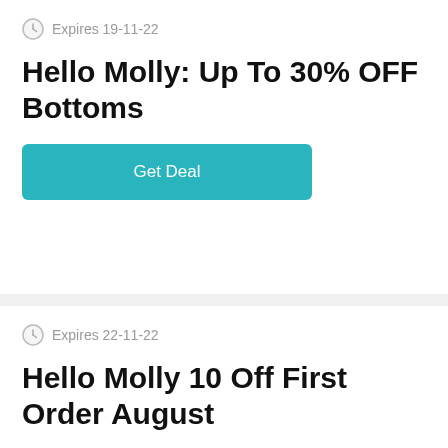Expires 19-11-22
Hello Molly: Up To 30% OFF Bottoms
Get Deal
Expires 22-11-22
Hello Molly 10 Off First Order August
Get Deal